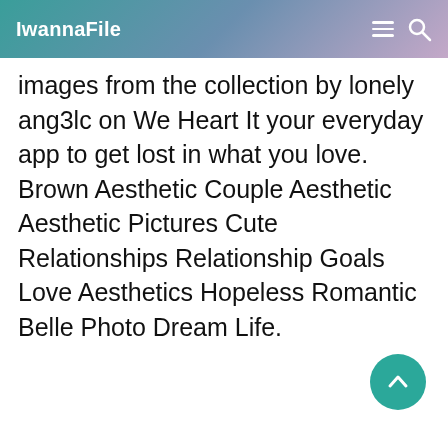IwannaFile
images from the collection by lonely ang3lc on We Heart It your everyday app to get lost in what you love. Brown Aesthetic Couple Aesthetic Aesthetic Pictures Cute Relationships Relationship Goals Love Aesthetics Hopeless Romantic Belle Photo Dream Life.